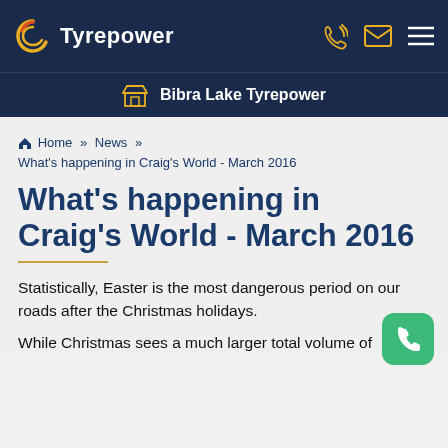Tyrepower
Bibra Lake Tyrepower
Home >> News >> What's happening in Craig's World - March 2016
What's happening in Craig's World - March 2016
Statistically, Easter is the most dangerous period on our roads after the Christmas holidays.
While Christmas sees a much larger total volume of